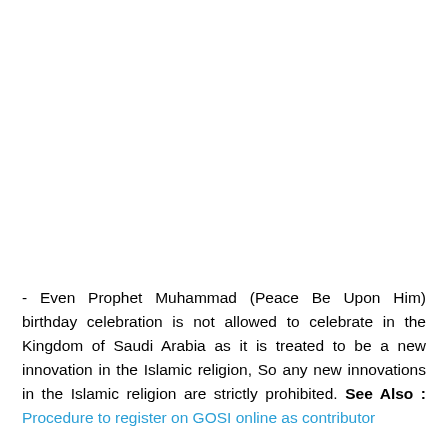- Even Prophet Muhammad (Peace Be Upon Him) birthday celebration is not allowed to celebrate in the Kingdom of Saudi Arabia as it is treated to be a new innovation in the Islamic religion, So any new innovations in the Islamic religion are strictly prohibited. See Also : Procedure to register on GOSI online as contributor